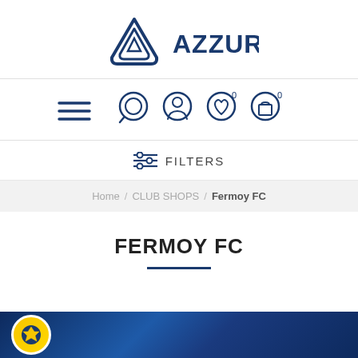[Figure (logo): Azzurri brand logo: triangle/shield icon with AZZURRI text in dark navy blue]
[Figure (infographic): Navigation bar icons: hamburger menu, search (magnifying glass), account (person), wishlist (heart with 0 badge), cart (bag with 0 badge)]
FILTERS
Home / CLUB SHOPS / Fermoy FC
FERMOY FC
[Figure (photo): Bottom image bar showing Fermoy FC club shop banner with dark blue background and club badge visible on left]